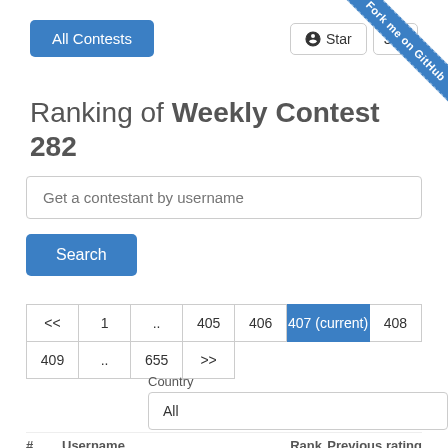[Figure (screenshot): Blue 'Fork me on GitHub' ribbon in top-right corner]
All Contests
Star  364
Ranking of Weekly Contest 282
Get a contestant by username
Search
| << | 1 | .. | 405 | 406 | 407 (current) | 408 |
| 409 | .. | 655 | >> |  |  |  |
Country
All
#  Username  Rank  Previous rating